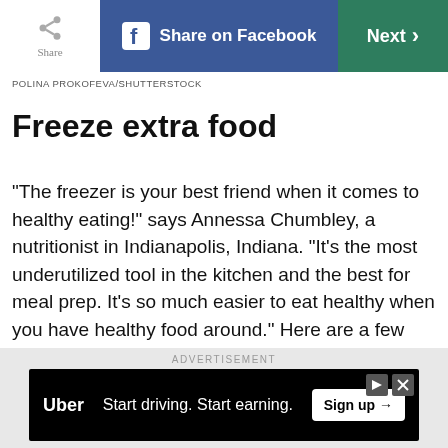Share | Share on Facebook | Next
POLINA PROKOFEVA/SHUTTERSTOCK
Freeze extra food
“The freezer is your best friend when it comes to healthy eating!” says Annessa Chumbley, a nutritionist in Indianapolis, Indiana. “It’s the most underutilized tool in the kitchen and the best for meal prep. It’s so much easier to eat healthy when you have healthy food around.” Here are a few ways Chumbley likes to utilize the freezer: “While you are dicing [an onion], go ahead and dice two, and place the extras in one-cup portions in zip-top
[Figure (other): Advertisement banner: Uber - Start driving. Start earning. Sign up button]